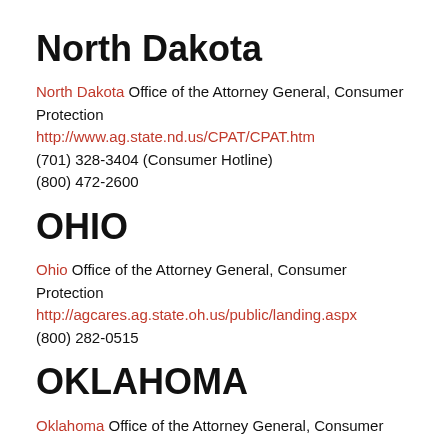North Dakota
North Dakota Office of the Attorney General, Consumer Protection
http://www.ag.state.nd.us/CPAT/CPAT.htm
(701) 328-3404 (Consumer Hotline)
(800) 472-2600
OHIO
Ohio Office of the Attorney General, Consumer Protection
http://agcares.ag.state.oh.us/public/landing.aspx
(800) 282-0515
OKLAHOMA
Oklahoma Office of the Attorney General, Consumer